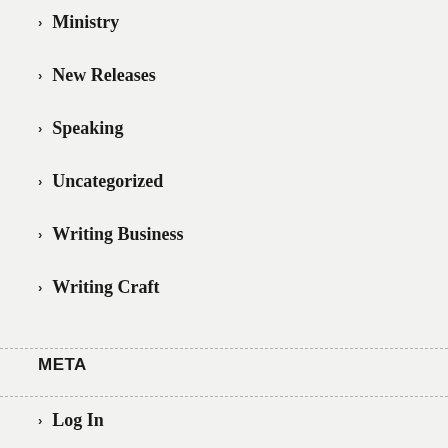Ministry
New Releases
Speaking
Uncategorized
Writing Business
Writing Craft
META
Log In